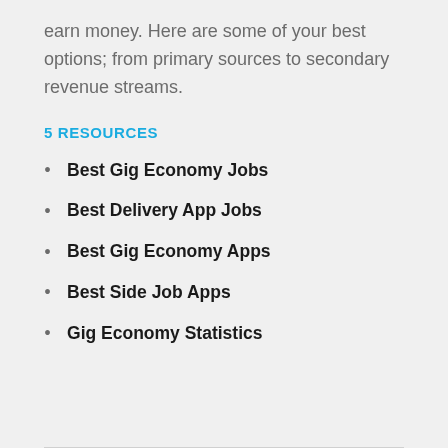earn money. Here are some of your best options; from primary sources to secondary revenue streams.
5 RESOURCES
Best Gig Economy Jobs
Best Delivery App Jobs
Best Gig Economy Apps
Best Side Job Apps
Gig Economy Statistics